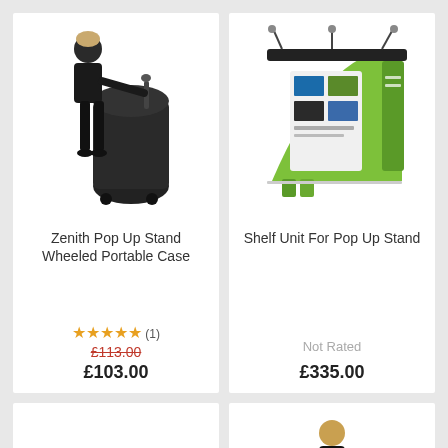[Figure (photo): Woman in black outfit standing next to a large black wheeled cylindrical case]
Zenith Pop Up Stand Wheeled Portable Case
★★★★★ (1) £113.00 £103.00
[Figure (photo): Exhibition pop-up display stand with green and black graphics, curved backdrop, and shelf units]
Shelf Unit For Pop Up Stand
Not Rated £335.00
[Figure (photo): Black metal banner stand hardware/frame components laid out]
[Figure (photo): Woman in black dress holding open a small portable display stand]